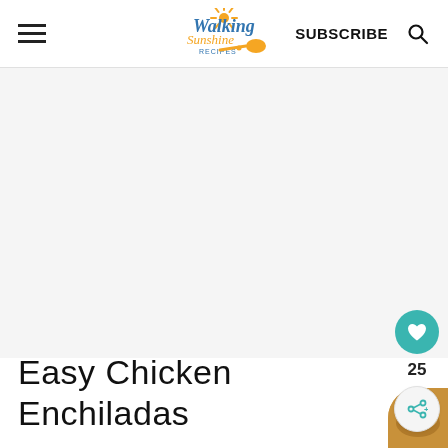Walking Sunshine Recipes — SUBSCRIBE
[Figure (photo): Large light gray placeholder image area for recipe photo]
25
[Figure (photo): Small circular thumbnail of food (enchilada dish) in bottom right corner]
Easy Chicken Enchiladas